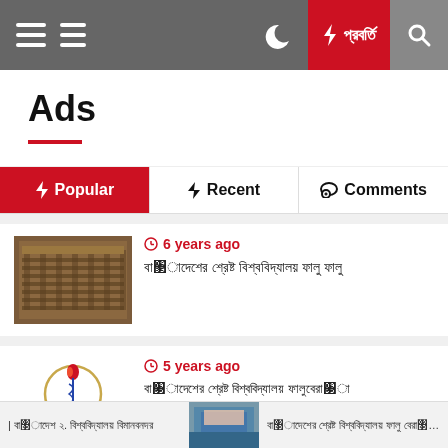Navigation bar with menu icons, moon icon, breaking news button, and search icon
Ads
Popular | Recent | Comments
6 years ago — Bengali article title
5 years ago — Bengali article title
Ticker with Bengali text on left and right, thumbnail in center